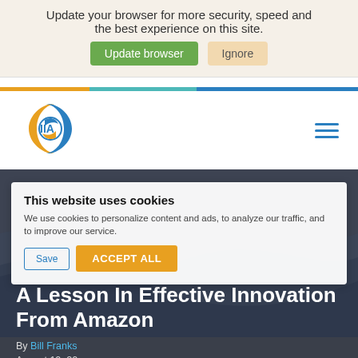Update your browser for more security, speed and the best experience on this site.
Update browser  Ignore
[Figure (logo): IIA logo with blue and orange circular swirl design and text IIA]
This website uses cookies
We use cookies to personalize content and ads, to analyze our traffic, and to improve our service.
Save  ACCEPT ALL
A Lesson In Effective Innovation From Amazon
By Bill Franks
August 10, 20...
Culture